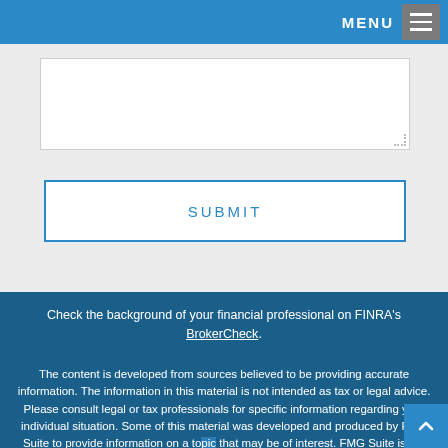MENU
[Figure (screenshot): Text area input field (empty) with resize handle in bottom right corner]
SUBMIT
Check the background of your financial professional on FINRA's BrokerCheck.
The content is developed from sources believed to be providing accurate information. The information in this material is not intended as tax or legal advice. Please consult legal or tax professionals for specific information regarding your individual situation. Some of this material was developed and produced by FMG Suite to provide information on a topic that may be of interest. FMG Suite is not affiliated with the